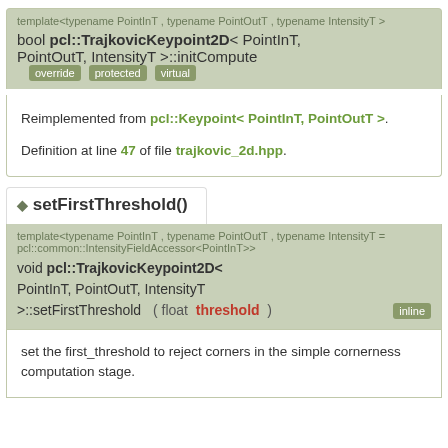template<typename PointInT , typename PointOutT , typename IntensityT >
bool pcl::TrajkovicKeypoint2D< PointInT, PointOutT, IntensityT >::initCompute
override protected virtual
Reimplemented from pcl::Keypoint< PointInT, PointOutT >.
Definition at line 47 of file trajkovic_2d.hpp.
setFirstThreshold()
template<typename PointInT , typename PointOutT , typename IntensityT = pcl::common::IntensityFieldAccessor<PointInT>>
void pcl::TrajkovicKeypoint2D< PointInT, PointOutT, IntensityT >::setFirstThreshold ( float threshold ) inline
set the first_threshold to reject corners in the simple cornerness computation stage.